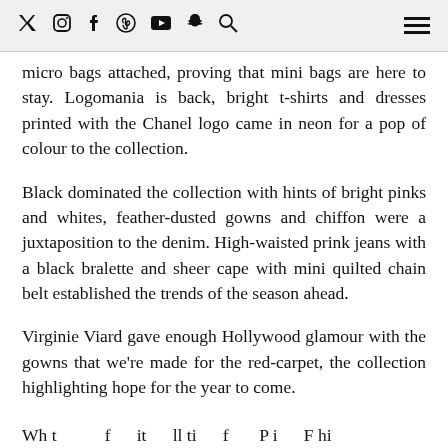social media icons and menu
micro bags attached, proving that mini bags are here to stay. Logomania is back, bright t-shirts and dresses printed with the Chanel logo came in neon for a pop of colour to the collection.
Black dominated the collection with hints of bright pinks and whites, feather-dusted gowns and chiffon were a juxtaposition to the denim. High-waisted prink jeans with a black bralette and sheer cape with mini quilted chain belt established the trends of the season ahead.
Virginie Viard gave enough Hollywood glamour with the gowns that we're made for the red-carpet, the collection highlighting hope for the year to come.
Wh t f it ll ti f P i F hi